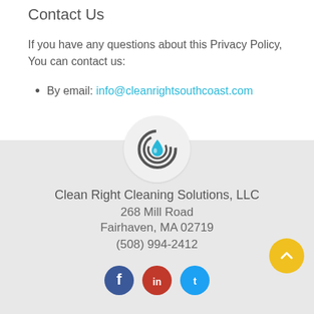Contact Us
If you have any questions about this Privacy Policy, You can contact us:
By email: info@cleanrightsouthcoast.com
[Figure (logo): Clean Right Cleaning Solutions logo: circular drop shape with spiral and blue water drop inside, on light gray circle]
Clean Right Cleaning Solutions, LLC
268 Mill Road
Fairhaven, MA 02719
(508) 994-2412
[Figure (illustration): Social media icons: Facebook (blue), LinkedIn (red), Twitter (teal)]